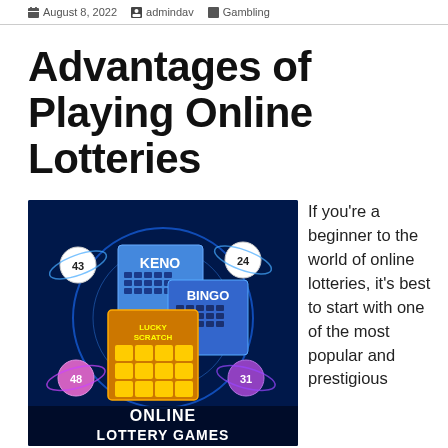August 8, 2022  admindav  Gambling
Advantages of Playing Online Lotteries
[Figure (illustration): Promotional illustration for online lottery games featuring KENO, BINGO, and LUCKY SCRATCH cards along with numbered lottery balls (43, 24, 48, 31) orbiting in a glowing blue cosmic background, with text 'ONLINE LOTTERY GAMES' at the bottom.]
If you're a beginner to the world of online lotteries, it's best to start with one of the most popular and prestigious